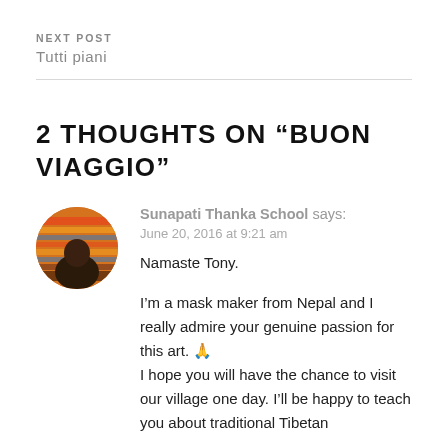NEXT POST
Tutti piani
2 THOUGHTS ON “BUON VIAGGIO”
[Figure (photo): Circular avatar photo of Sunapati Thanka School, showing a person with colorful traditional items in the background]
Sunapati Thanka School says:
June 20, 2016 at 9:21 am
Nameste Tony.

I’m a mask maker from Nepal and I really admire your genuine passion for this art. 🙏
I hope you will have the chance to visit our village one day. I’ll be happy to teach you about traditional Tibetan